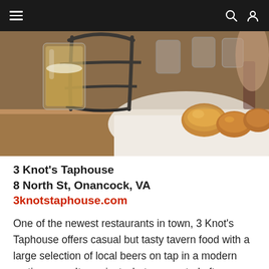Navigation bar with menu, search, and user icons
[Figure (photo): Close-up photo of beer glasses in a metal rack and a basket of bread rolls on a white cloth at a tavern table]
3 Knot's Taphouse
8 North St, Onancock, VA
3knotstaphouse.com
One of the newest restaurants in town, 3 Knot's Taphouse offers casual but tasty tavern food with a large selection of local beers on tap in a modern rustic space. It was just what we wanted after our sunset cruise. The service here is